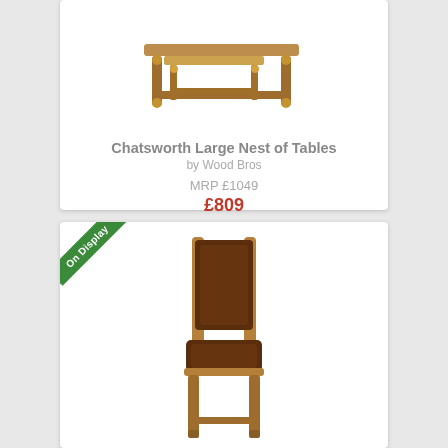[Figure (photo): Photo of Chatsworth Large Nest of Tables, a wooden nest of tables in oak finish]
Chatsworth Large Nest of Tables
by Wood Bros
MRP £1049
£809
[Figure (photo): Photo of a wooden dining chair with dark brown leather seat and back pad, on display badge shown]
On Display